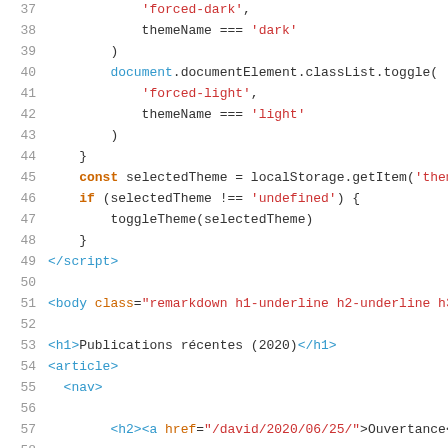[Figure (screenshot): Code editor screenshot showing lines 37-59 of a JavaScript/HTML file with syntax highlighting. Lines show theme toggle logic and HTML body/article/nav/h1/h2/p tags.]